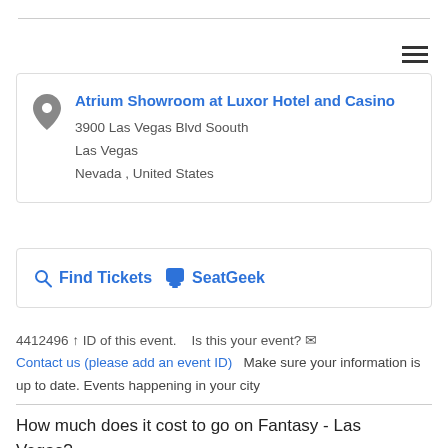Atrium Showroom at Luxor Hotel and Casino
3900 Las Vegas Blvd Soouth
Las Vegas
Nevada , United States
Find Tickets  SeatGeek
4412496 ↑ ID of this event.   Is this your event? ✉ Contact us (please add an event ID)   Make sure your information is up to date. Events happening in your city
How much does it cost to go on Fantasy - Las Vegas?